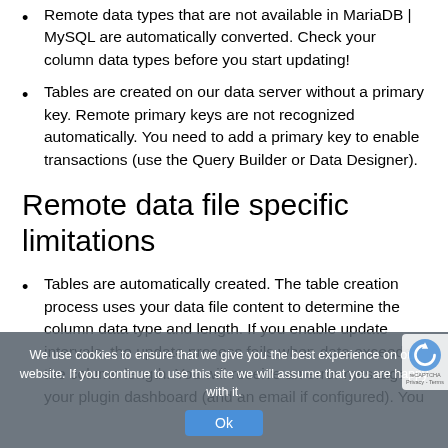Remote data types that are not available in MariaDB | MySQL are automatically converted. Check your column data types before you start updating!
Tables are created on our data server without a primary key. Remote primary keys are not recognized automatically. You need to add a primary key to enable transactions (use the Query Builder or Data Designer).
Remote data file specific limitations
Tables are automatically created. The table creation process uses your data file content to determine the column data type and length. If you enable update intervals, the update process fails when data exceeds the column length. You will receive an error message in your plugin dashboard (and an email if configured). You